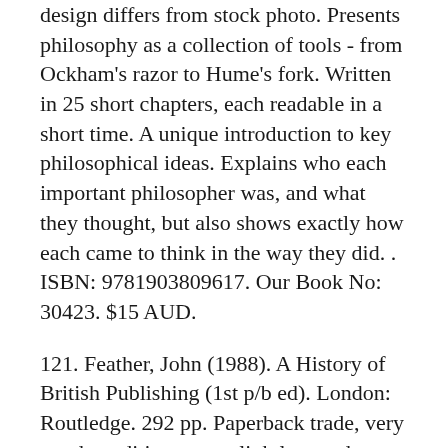design differs from stock photo. Presents philosophy as a collection of tools - from Ockham's razor to Hume's fork. Written in 25 short chapters, each readable in a short time. A unique introduction to key philosophical ideas. Explains who each important philosopher was, and what they thought, but also shows exactly how each came to think in the way they did. . ISBN: 9781903809617. Our Book No: 30423. $15 AUD.
121. Feather, John (1988). A History of British Publishing (1st p/b ed). London: Routledge. 292 pp. Paperback trade, very good condition, pages lightly toned, minor edgewear. This comprehensive history covers the period in which